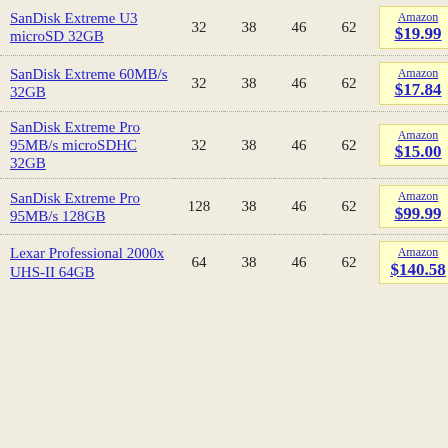| Product | Col1 | Col2 | Col3 | Col4 | Price |
| --- | --- | --- | --- | --- | --- |
| SanDisk Extreme U3 microSD 32GB | 32 | 38 | 46 | 62 | Amazon $19.99 |
| SanDisk Extreme 60MB/s 32GB | 32 | 38 | 46 | 62 | Amazon $17.84 |
| SanDisk Extreme Pro 95MB/s microSDHC 32GB | 32 | 38 | 46 | 62 | Amazon $15.00 |
| SanDisk Extreme Pro 95MB/s 128GB | 128 | 38 | 46 | 62 | Amazon $99.99 |
| Lexar Professional 2000x UHS-II 64GB | 64 | 38 | 46 | 62 | Amazon $140.58 |